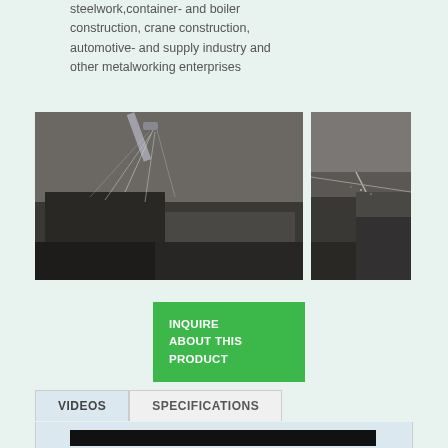steelwork,container- and boiler construction, crane construction, automotive- and supply industry and other metalworking enterprises
[Figure (photo): Two photos side by side showing industrial metalworking process with liquid spray/cutting on metal plates]
INQUIRE ABOUT THIS PRODUCT
VIDEOS
SPECIFICATIONS